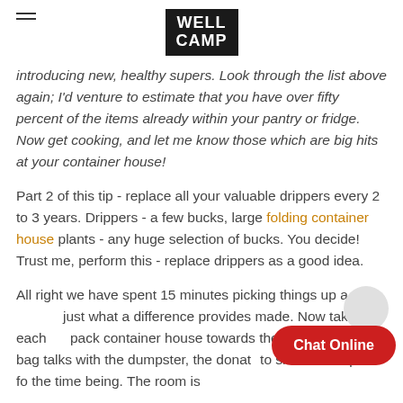WELL CAMP
introducing new, healthy supers. Look through the list above again; I'd venture to estimate that you have over fifty percent of the items already within your pantry or fridge. Now get cooking, and let me know those which are big hits at your container house!
Part 2 of this tip - replace all your valuable drippers every 2 to 3 years. Drippers - a few bucks, large folding container house plants - any huge selection of bucks. You decide! Trust me, perform this - replace drippers as a good idea.
All right we have spent 15 minutes picking things up and just what a difference provides made. Now take each bag, pack container house towards the proper spot: the trash bag talks with the dumpster, the donation box carries on to shed or car port fo the time being. The room is